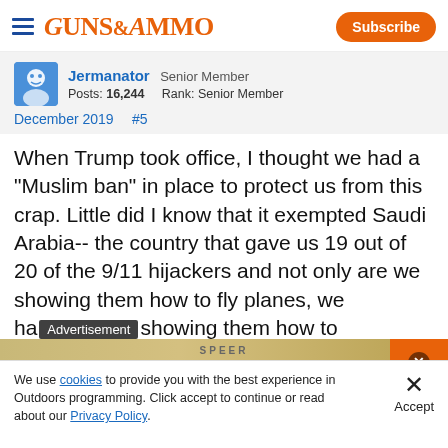GUNS&AMMO | Subscribe
Jermanator  Senior Member
Posts: 16,244   Rank: Senior Member
December 2019   #5
When Trump took office, I thought we had a "Muslim ban" in place to protect us from this crap. Little did I know that it exempted Saudi Arabia-- the country that gave us 19 out of 20 of the 9/11 hijackers and not only are we showing them how to fly planes, we have [Advertisement] showing them how to
We use cookies to provide you with the best experience in Outdoors programming. Click accept to continue or read about our Privacy Policy.